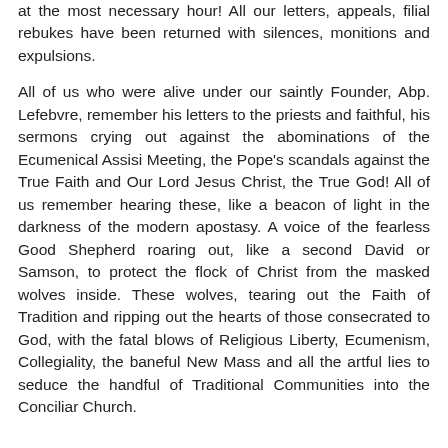at the most necessary hour! All our letters, appeals, filial rebukes have been returned with silences, monitions and expulsions.
All of us who were alive under our saintly Founder, Abp. Lefebvre, remember his letters to the priests and faithful, his sermons crying out against the abominations of the Ecumenical Assisi Meeting, the Pope's scandals against the True Faith and Our Lord Jesus Christ, the True God! All of us remember hearing these, like a beacon of light in the darkness of the modern apostasy. A voice of the fearless Good Shepherd roaring out, like a second David or Samson, to protect the flock of Christ from the masked wolves inside. These wolves, tearing out the Faith of Tradition and ripping out the hearts of those consecrated to God, with the fatal blows of Religious Liberty, Ecumenism, Collegiality, the baneful New Mass and all the artful lies to seduce the handful of Traditional Communities into the Conciliar Church.